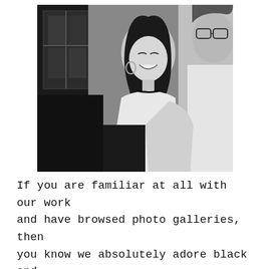[Figure (photo): Black and white photograph of a couple. A woman with dark hair, wearing a white sleeveless top and hoop earrings, laughs joyfully looking up at a man in a white shirt wearing glasses. They appear to be in an indoor setting.]
If you are familiar at all with our work and have browsed photo galleries, then you know we absolutely adore black and white portraits. As soon as we met Jenni